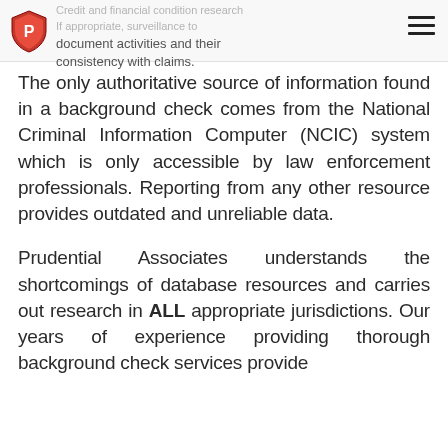Credit and financial condition research
If appropriate, surveillance to document activities and their consistency with claims.
document activities and their consistency with claims.
The only authoritative source of information found in a background check comes from the National Criminal Information Computer (NCIC) system which is only accessible by law enforcement professionals. Reporting from any other resource provides outdated and unreliable data.
Prudential Associates understands the shortcomings of database resources and carries out research in ALL appropriate jurisdictions. Our years of experience providing thorough background check services provide